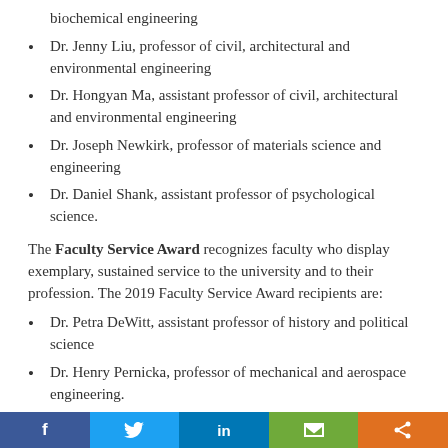biochemical engineering
Dr. Jenny Liu, professor of civil, architectural and environmental engineering
Dr. Hongyan Ma, assistant professor of civil, architectural and environmental engineering
Dr. Joseph Newkirk, professor of materials science and engineering
Dr. Daniel Shank, assistant professor of psychological science.
The Faculty Service Award recognizes faculty who display exemplary, sustained service to the university and to their profession. The 2019 Faculty Service Award recipients are:
Dr. Petra DeWitt, assistant professor of history and political science
Dr. Henry Pernicka, professor of mechanical and aerospace engineering.